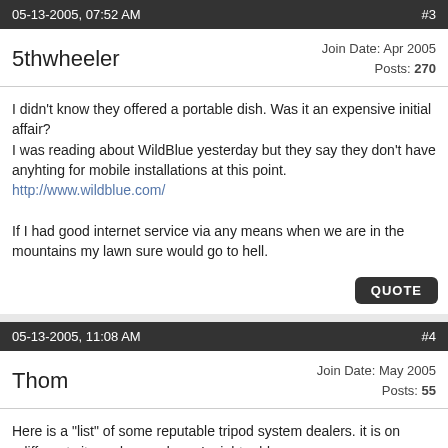05-13-2005, 07:52 AM   #3
5thwheeler   Join Date: Apr 2005  Posts: 270
I didn't know they offered a portable dish. Was it an expensive initial affair?
I was reading about WildBlue yesterday but they say they don't have anyhting for mobile installations at this point.
http://www.wildblue.com/

If I had good internet service via any means when we are in the mountains my lawn sure would go to hell.
05-13-2005, 11:08 AM   #4
Thom   Join Date: May 2005  Posts: 55
Here is a "list" of some reputable tripod system dealers. it is on adifferent site and a good one I might add